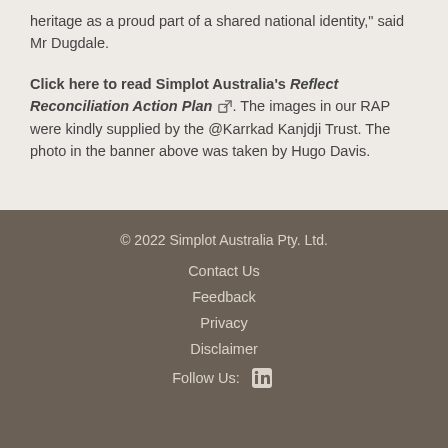heritage as a proud part of a shared national identity," said Mr Dugdale.
Click here to read Simplot Australia's Reflect Reconciliation Action Plan [external link]. The images in our RAP were kindly supplied by the @Karrkad Kanjdji Trust. The photo in the banner above was taken by Hugo Davis.
© 2022 Simplot Australia Pty. Ltd.
Contact Us
Feedback
Privacy
Disclaimer
Follow Us: [LinkedIn]